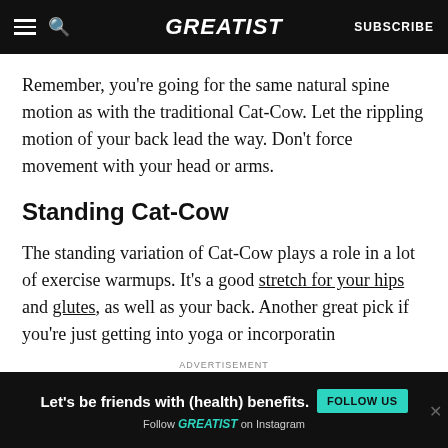GREATIST | SUBSCRIBE
Remember, you're going for the same natural spine motion as with the traditional Cat-Cow. Let the rippling motion of your back lead the way. Don't force movement with your head or arms.
Standing Cat-Cow
The standing variation of Cat-Cow plays a role in a lot of exercise warmups. It's a good stretch for your hips and glutes, as well as your back. Another great pick if you're just getting into yoga or incorporatin…